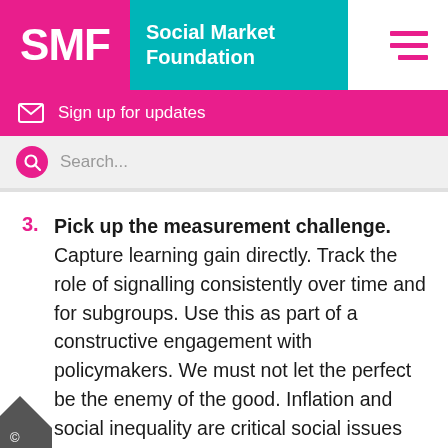[Figure (logo): SMF Social Market Foundation logo with pink and teal background and hamburger menu icon]
Sign up for updates
Search...
Pick up the measurement challenge. Capture learning gain directly. Track the role of signalling consistently over time and for subgroups. Use this as part of a constructive engagement with policymakers. We must not let the perfect be the enemy of the good. Inflation and social inequality are critical social issues that are very imperfectly measured today – and yet we still make important policy gains from tracking proxy metrics and understanding the metrics' limitations.